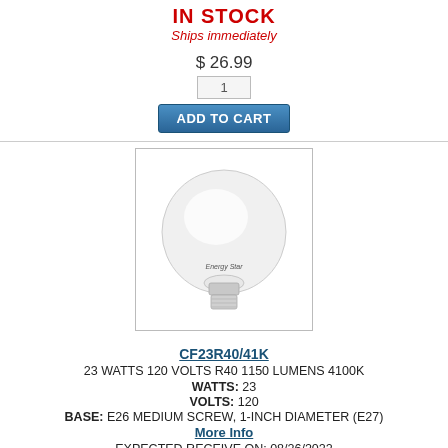IN STOCK
Ships immediately
$ 26.99
1
ADD TO CART
[Figure (photo): CFL R40 light bulb, white reflector bulb with screw base]
CF23R40/41K
23 WATTS 120 VOLTS R40 1150 LUMENS 4100K
WATTS: 23
VOLTS: 120
BASE: E26 MEDIUM SCREW, 1-INCH DIAMETER (E27)
More Info
EXPECTED RECEIVE ON: 08/26/2022
Call if needed sooner
$ 12.09
1
[Figure (infographic): Live Help OFFLINE - Leave a Message button bar]
[Figure (photo): Partially visible light bulb at bottom of page]